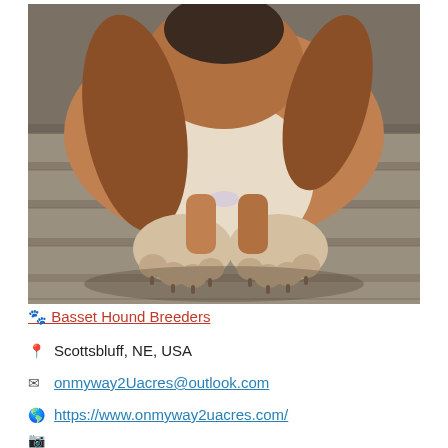[Figure (photo): Close-up photo of a Basset Hound dog sitting on a wooden deck, looking down at its paws. The dog has brown and white coloring with long floppy ears.]
🐾 Basset Hound Breeders
📍 Scottsbluff, NE, USA
✉ onmyway2Uacres@outlook.com
🌐 https://www.onmyway2uacres.com/